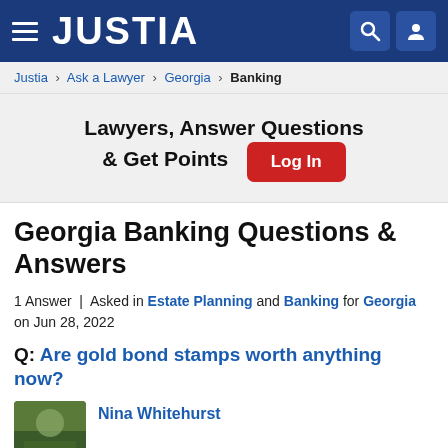JUSTIA
Justia › Ask a Lawyer › Georgia › Banking
Lawyers, Answer Questions & Get Points  Log In
Georgia Banking Questions & Answers
1 Answer | Asked in Estate Planning and Banking for Georgia on Jun 28, 2022
Q: Are gold bond stamps worth anything now?
Nina Whitehurst